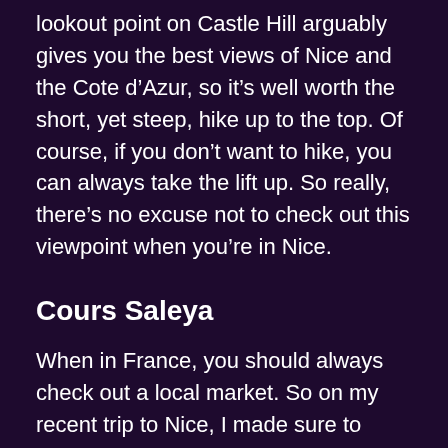lookout point on Castle Hill arguably gives you the best views of Nice and the Cote d'Azur, so it's well worth the short, yet steep, hike up to the top. Of course, if you don't want to hike, you can always take the lift up. So really, there's no excuse not to check out this viewpoint when you're in Nice.
Cours Saleya
When in France, you should always check out a local market. So on my recent trip to Nice, I made sure to stroll through the town's best market, the Cours Saleya. Located in the Old Town, this outdoor market features some of the most beautiful, colorful fruits, veggies and flowers you've ever seen. Just wandering through the stalls is a treat for the senses, and you'll have a hard time walking